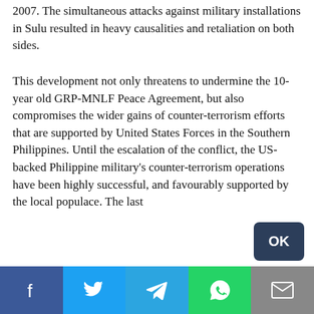2007. The simultaneous attacks against military installations in Sulu resulted in heavy causalities and retaliation on both sides.

This development not only threatens to undermine the 10-year old GRP-MNLF Peace Agreement, but also compromises the wider gains of counter-terrorism efforts that are supported by United States Forces in the Southern Philippines. Until the escalation of the conflict, the US-backed Philippine military's counter-terrorism operations have been highly successful, and favourably supported by the local populace. The last
This site uses cookies to offer you a better browsing experience. By continuing, you are agreeing to the use of cookies on your device as described in our privacy policy. Learn more
OK
Social sharing bar: Facebook, Twitter, Telegram, WhatsApp, Email